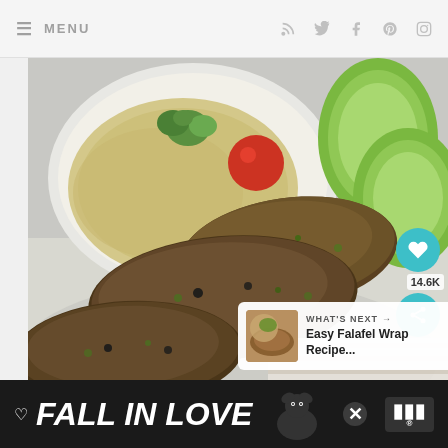≡ MENU
[Figure (photo): Close-up photo of falafel patties on a plate, with a bowl of hummus garnished with parsley and a cherry tomato, and sliced cucumbers, in the background. Several golden-brown falafel patties are stacked in the foreground.]
14.6K
WHAT'S NEXT → Easy Falafel Wrap Recipe...
[Figure (photo): Small thumbnail image next to 'What's Next' panel showing a falafel wrap recipe.]
FALL IN LOVE